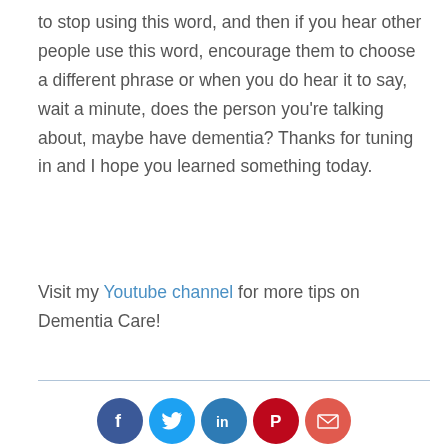to stop using this word, and then if you hear other people use this word, encourage them to choose a different phrase or when you do hear it to say, wait a minute, does the person you're talking about, maybe have dementia? Thanks for tuning in and I hope you learned something today.
Visit my Youtube channel for more tips on Dementia Care!
[Figure (infographic): Row of five social share buttons: Facebook (dark blue circle with f icon), Twitter (light blue circle with bird icon), LinkedIn (medium blue circle with in icon), Pinterest (dark red circle with P icon), Email (red-orange circle with envelope icon)]